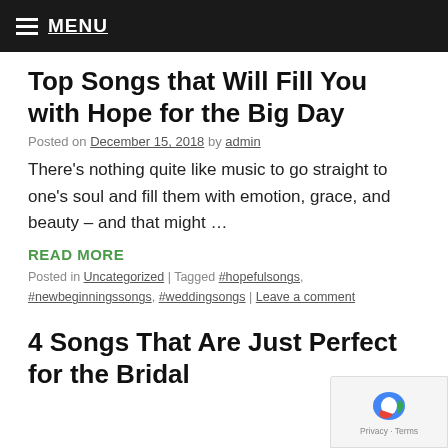MENU
Top Songs that Will Fill You with Hope for the Big Day
Posted on December 15, 2018 by admin
There's nothing quite like music to go straight to one's soul and fill them with emotion, grace, and beauty – and that might …
READ MORE
Posted in Uncategorized | Tagged #hopefulsongs, #newbeginningssongs, #weddingsongs | Leave a comment
4 Songs That Are Just Perfect for the Bridal